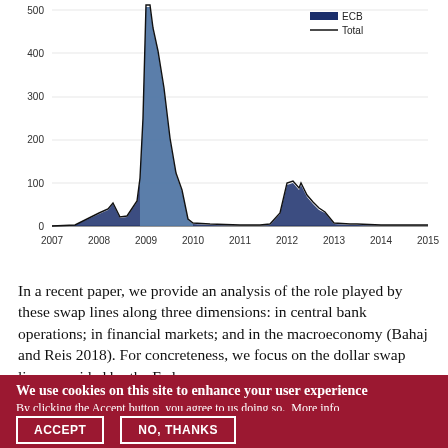[Figure (area-chart): ]
In a recent paper, we provide an analysis of the role played by these swap lines along three dimensions: in central bank operations; in financial markets; and in the macroeconomy (Bahaj and Reis 2018). For concreteness, we focus on the dollar swap lines provided by the Fed.
We use cookies on this site to enhance your user experience
By clicking the Accept button, you agree to us doing so. More info